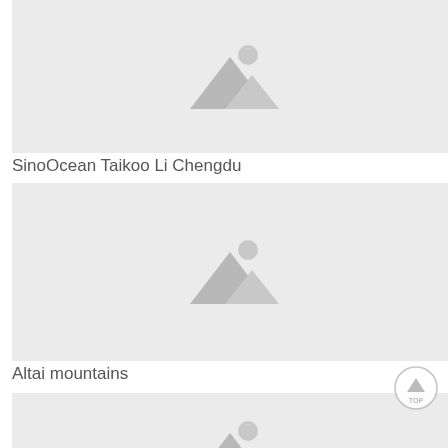[Figure (photo): Placeholder image with mountain/landscape icon for SinoOcean Taikoo Li Chengdu]
SinoOcean Taikoo Li Chengdu
[Figure (photo): Placeholder image with mountain/landscape icon for Altai mountains]
Altai mountains
[Figure (photo): Placeholder image with mountain/landscape icon (partially visible, third item)]